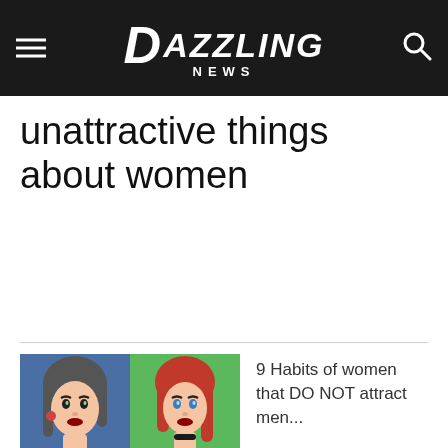Dazzling News
unattractive things about women
[Figure (illustration): Comic-style illustration of two women side by side: left figure with dark hair on blue background, right figure with red hair on green background, both with thumbs-down badge icons]
9 Habits of women that DO NOT attract men...